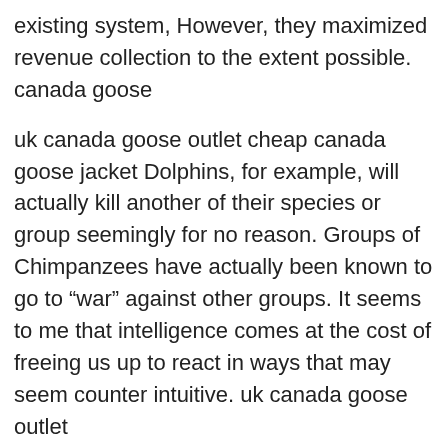existing system, However, they maximized revenue collection to the extent possible. canada goose
uk canada goose outlet cheap canada goose jacket Dolphins, for example, will actually kill another of their species or group seemingly for no reason. Groups of Chimpanzees have actually been known to go to “war” against other groups. It seems to me that intelligence comes at the cost of freeing us up to react in ways that may seem counter intuitive. uk canada goose outlet
Canada Goose Online We adopted an ACD a few months ago and while ours does get fiesty (especially at that magical dusk hour) she always go back to the default state of lying at the side of my chair when she bored.Everything you do should be training the dog. Make then sit, stay, lie down w/e